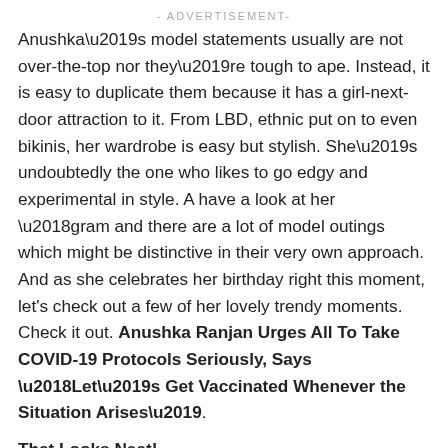- ADVERTISEMENT-
Anushka’s model statements usually are not over-the-top nor they’re tough to ape. Instead, it is easy to duplicate them because it has a girl-next-door attraction to it. From LBD, ethnic put on to even bikinis, her wardrobe is easy but stylish. She’s undoubtedly the one who likes to go edgy and experimental in style. A have a look at her ‘gram and there are a lot of model outings which might be distinctive in their very own approach. And as she celebrates her birthday right this moment, let’s check out a few of her lovely trendy moments. Check it out. Anushka Ranjan Urges All To Take COVID-19 Protocols Seriously, Says ‘Let’s Get Vaccinated Whenever the Situation Arises’.
That Looks Neat!